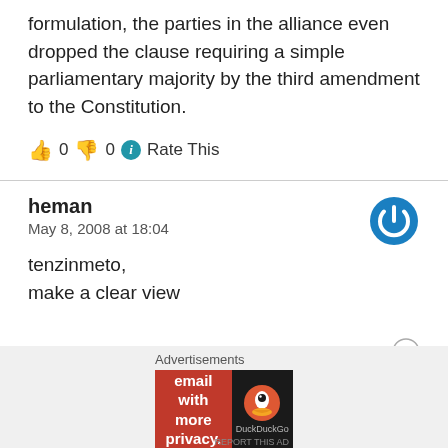formulation, the parties in the alliance even dropped the clause requiring a simple parliamentary majority by the third amendment to the Constitution.
👍 0 👎 0 ℹ Rate This
heman
May 8, 2008 at 18:04
tenzinmeto,
make a clear view
Advertisements
[Figure (screenshot): DuckDuckGo advertisement banner: orange left section with 'Search, browse, and email with more privacy. All in One Free App' and dark right section with DuckDuckGo logo]